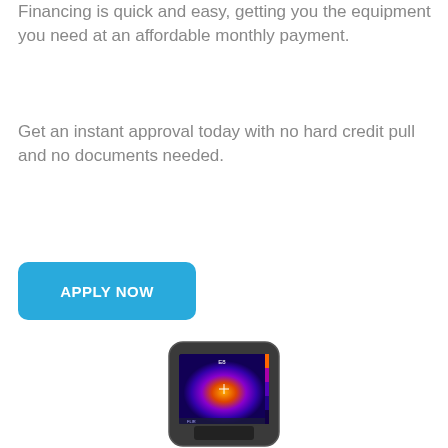Financing is quick and easy, getting you the equipment you need at an affordable monthly payment.
Get an instant approval today with no hard credit pull and no documents needed.
[Figure (other): Blue rounded rectangle button with white uppercase text reading APPLY NOW]
[Figure (photo): FLIR E8 thermal imaging camera showing a thermal image on its screen with purple, orange and yellow heat signatures]